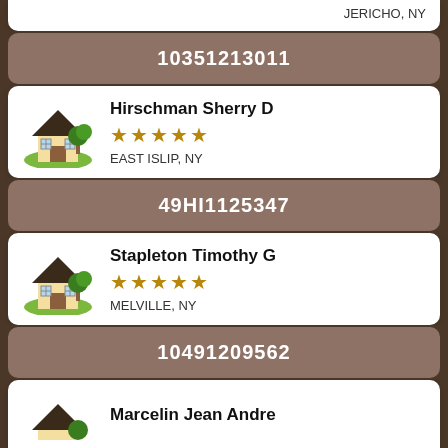JERICHO, NY
10351213011
Hirschman Sherry D
★★★★★
EAST ISLIP, NY
49HI1125347
Stapleton Timothy G
★★★★★
MELVILLE, NY
10491209562
Marcelin Jean Andre